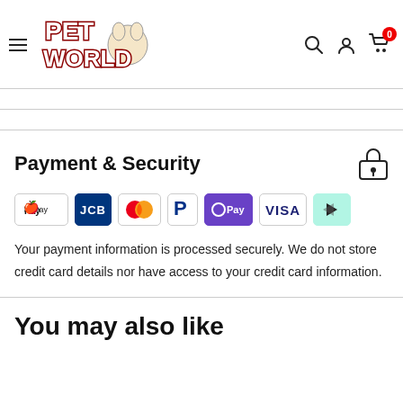Pet World — navigation header with hamburger menu, logo, search, account, and cart icons
Payment & Security
[Figure (other): Payment method icons: Apple Pay, JCB, Mastercard, PayPal, OPay, VISA, Afterpay]
Your payment information is processed securely. We do not store credit card details nor have access to your credit card information.
You may also like